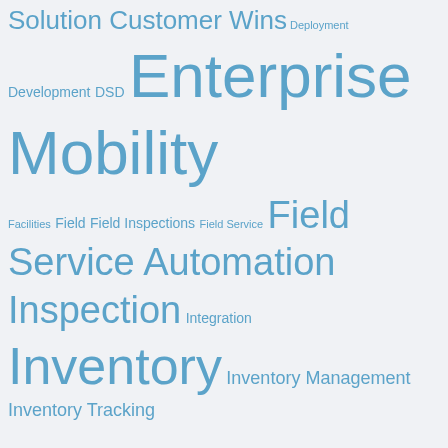[Figure (infographic): Tag cloud with technology and mobile enterprise keywords in varying blue font sizes on a light gray background. Terms include: Solution Customer Wins, Deployment, Development, DSD, Enterprise Mobility, Facilities, Field, Field Inspections, Field Service, Field Service Automation, Inspection, Integration, Inventory, Inventory Management, Inventory Tracking, Management, MDM, MEAP, Mobile, Mobile Applications, Mobile Computing, Mobile Device Management, Mobile Education, Mobile Field Service, MobileFrame, Mobile Inspections, Mobile Work Orders, Paper, Paperless, Paperless Enterprise, Proof of Delivery, ROI, Service, tracking, Updates, Webinar, Windows Mobile, Work Orders]